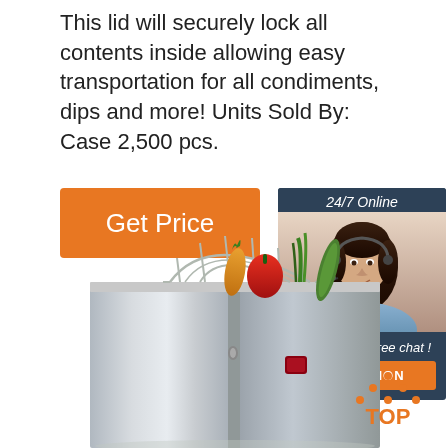This lid will securely lock all contents inside allowing easy transportation for all condiments, dips and more! Units Sold By: Case 2,500 pcs.
[Figure (other): Orange 'Get Price' button]
[Figure (other): 24/7 Online live chat box with woman wearing headset, 'Click here for free chat!' text and orange QUOTATION button]
[Figure (photo): Stainless steel food container/refrigerator with wire rack holding vegetables (carrot, red pepper, green onion, cucumber)]
[Figure (logo): Orange TOP logo with triangle dots above the word TOP]